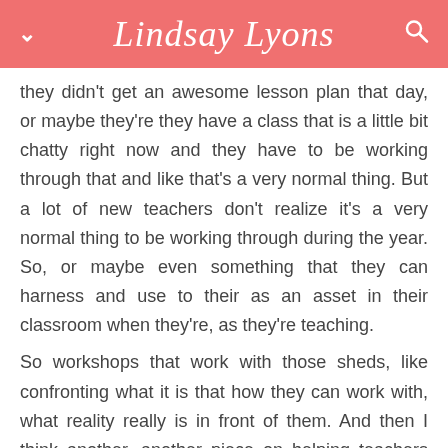Lindsay Lyons
they didn't get an awesome lesson plan that day, or maybe they're they have a class that is a little bit chatty right now and they have to be working through that and like that's a very normal thing. But a lot of new teachers don't realize it's a very normal thing to be working through during the year. So, or maybe even something that they can harness and use to their as an asset in their classroom when they're, as they're teaching.
So workshops that work with those sheds, like confronting what it is that how they can work with, what reality really is in front of them. And then I think another, another piece on helping teachers confront their vision versus what they are perceiving as reality in their classroom,